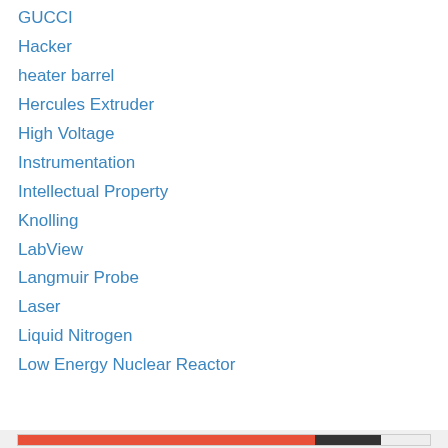GUCCI
Hacker
heater barrel
Hercules Extruder
High Voltage
Instrumentation
Intellectual Property
Knolling
LabView
Langmuir Probe
Laser
Liquid Nitrogen
Low Energy Nuclear Reactor
Privacy & Cookies: This site uses cookies. By continuing to use this website, you agree to their use. To find out more, including how to control cookies, see here: Cookie Policy
Close and accept